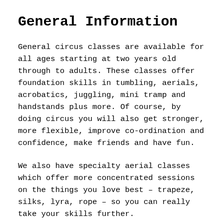General Information
General circus classes are available for all ages starting at two years old through to adults. These classes offer foundation skills in tumbling, aerials, acrobatics, juggling, mini tramp and handstands plus more. Of course, by doing circus you will also get stronger, more flexible, improve co-ordination and confidence, make friends and have fun.
We also have specialty aerial classes which offer more concentrated sessions on the things you love best – trapeze, silks, lyra, rope – so you can really take your skills further.
Our performance stream classes are indicated with * and require an invitation based on a student's attitude, commitment and skill. Performance stream classes – the